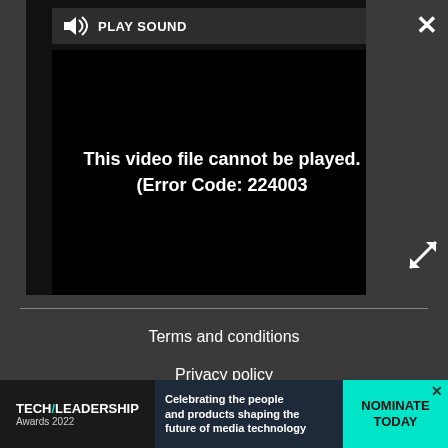[Figure (screenshot): Video player showing error message: 'This video file cannot be played. (Error Code: 224003)' with a PLAY SOUND button at the top, close button (X) top-right, and expand button bottom-right]
Terms and conditions
Privacy policy
Cookies policy
Accessibility statement
Careers
Contact us
[Figure (screenshot): Advertisement banner: TECH/LEADERSHIP Awards 2022 - Celebrating the people and products shaping the future of media technology. NOMINATE TODAY button in cyan/teal color.]